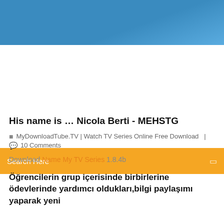[Figure (photo): Blue sky header banner image]
Search Here
His name is … Nicola Berti - MEHSTG
MyDownloadTube.TV | Watch TV Series Online Free Download  |
10 Comments
Download Name My TV Series 1.8.4b
Öğrencilerin grup içerisinde birbirlerine ödevlerinde yardımcı oldukları,bilgi paylaşımı yaparak yeni